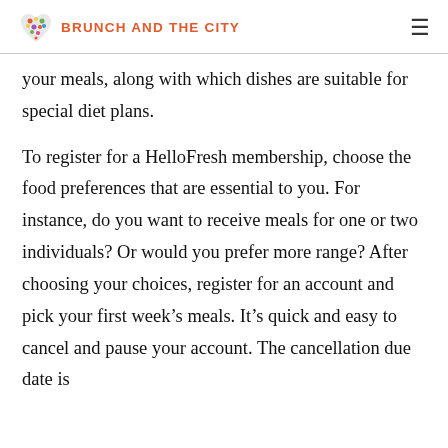BRUNCH AND THE CITY
your meals, along with which dishes are suitable for special diet plans.
To register for a HelloFresh membership, choose the food preferences that are essential to you. For instance, do you want to receive meals for one or two individuals? Or would you prefer more range? After choosing your choices, register for an account and pick your first week’s meals. It’s quick and easy to cancel and pause your account. The cancellation due date is